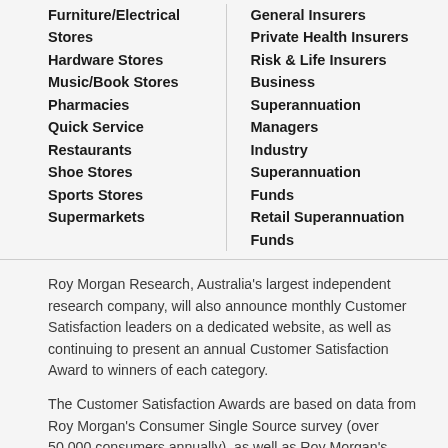Furniture/Electrical Stores
Hardware Stores
Music/Book Stores
Pharmacies
Quick Service Restaurants
Shoe Stores
Sports Stores
Supermarkets
General Insurers
Private Health Insurers
Risk & Life Insurers
Business Superannuation Managers
Industry Superannuation Funds
Retail Superannuation Funds
Roy Morgan Research, Australia's largest independent research company, will also announce monthly Customer Satisfaction leaders on a dedicated website, as well as continuing to present an annual Customer Satisfaction Award to winners of each category.
The Customer Satisfaction Awards are based on data from Roy Morgan's Consumer Single Source survey (over 50,000 consumers annually), as well as Roy Morgan's Business Single Source survey (over 20,000 business decision makers annually). These two large, nationwide studies provide a thorough and accurate